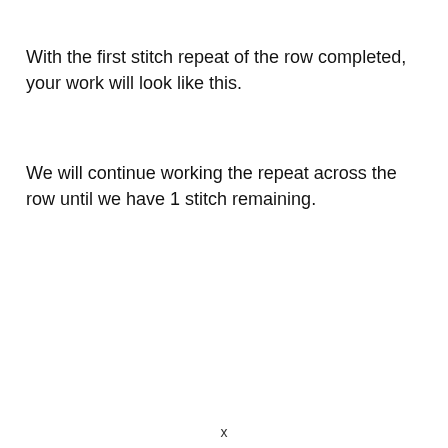With the first stitch repeat of the row completed, your work will look like this.
We will continue working the repeat across the row until we have 1 stitch remaining.
x